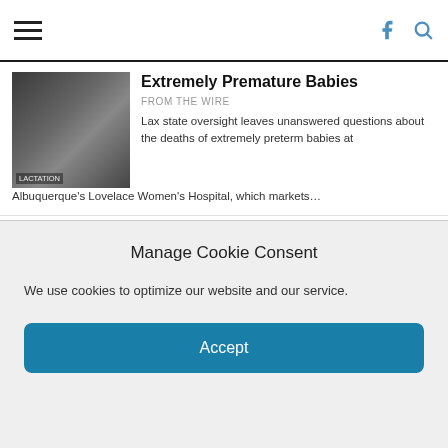Navigation bar with hamburger menu, Facebook and search icons
Extremely Premature Babies
FROM THE WIRE
Lax state oversight leaves unanswered questions about the deaths of extremely preterm babies at Albuquerque's Lovelace Women's Hospital, which markets...
[Figure (photo): Black and white photo related to lactation / premature babies]
How to file your state and federal taxes for free in 2021
FROM THE WIRE
by Kristen Doerer for ProPublica, Justin Elliott and Karim Doumar The ProPublica Free Tax Guide Free, Fact-Checked Tax Information. That's...
[Figure (other): No image available placeholder]
America's drinking water is surprisingly
[Figure (photo): Partial photo visible at bottom, pinkish/skin tone]
Manage Cookie Consent
We use cookies to optimize our website and our service.
Accept